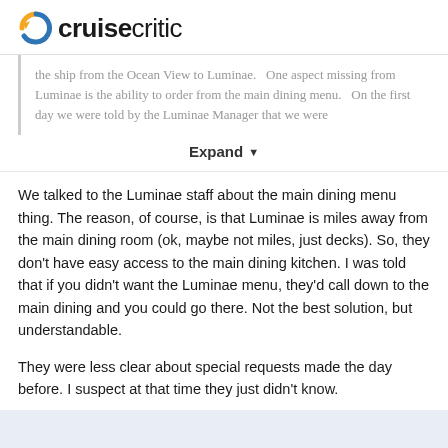cruisecritic
the ship from the Ocean View to Luminae.   One aspect missing from Luminae is the ability to order from the main dining menu.   On the first day we were told by the Luminae Manager that we were
Expand
We talked to the Luminae staff about the main dining menu thing.  The reason, of course, is that Luminae is miles away from the main dining room (ok, maybe not miles, just decks).  So, they don't have easy access to the main dining kitchen.  I was told that if you didn't want the Luminae menu, they'd call down to the main dining and you could go there.  Not the best solution, but understandable.
They were less clear about special requests made the day before.  I suspect at that time they just didn't know.
Enjoying your reports - it's fun to revisit our cruise of 2017.